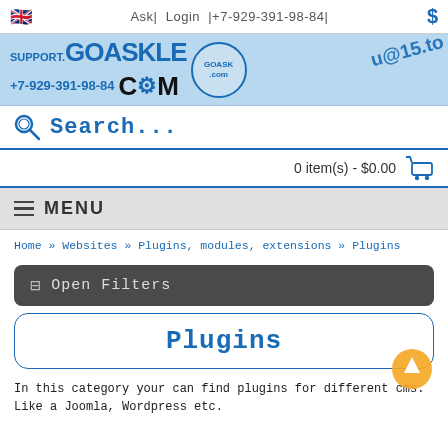🇬🇧  Ask|  Login  |+7-929-391-98-84|   $
[Figure (logo): SUPPORT.GOASKLE COM banner with phone number +7-929-391-98-84, circular logo, and u@15.to text]
Search...
0 item(s) - $0.00
MENU
Home » Websites » Plugins, modules, extensions » Plugins
Open Filters
Plugins
In this category your can find plugins for different cms. Like a Joomla, Wordpress etc.